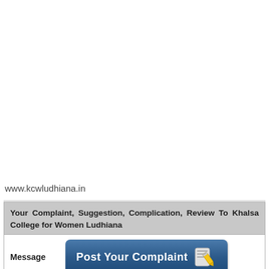www.kcwludhiana.in
Your Complaint, Suggestion, Complication, Review To Khalsa College for Women Ludhiana
Message
[Figure (screenshot): Blue rounded button labeled 'Post Your Complaint' with a pencil/notepad icon on the right]